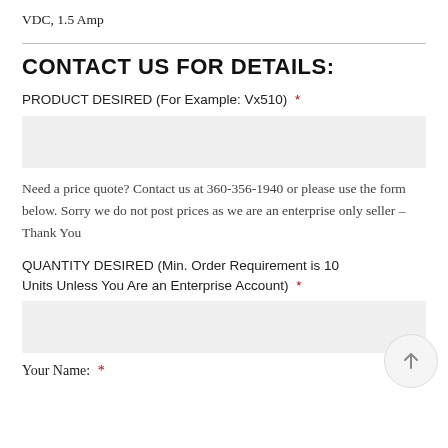VDC, 1.5 Amp
CONTACT US FOR DETAILS:
PRODUCT DESIRED (For Example: Vx510)  *
Need a price quote? Contact us at 360-356-1940 or please use the form below. Sorry we do not post prices as we are an enterprise only seller – Thank You
QUANTITY DESIRED (Min. Order Requirement is 10 Units Unless You Are an Enterprise Account)  *
Your Name:  *